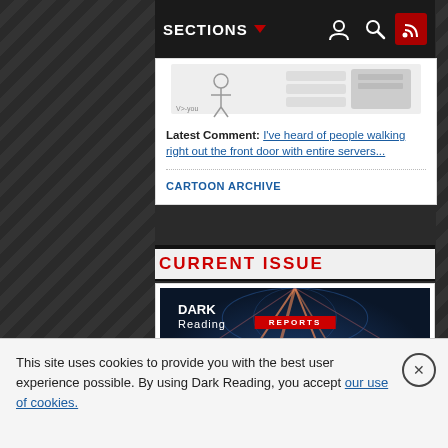SECTIONS
[Figure (illustration): Cartoon image of servers/IT security humor]
Latest Comment: I've heard of people walking right out the front door with entire servers...
CARTOON ARCHIVE
CURRENT ISSUE
[Figure (photo): Dark Reading Reports cover: The State of Supply Chain Threats. Widely exploited vulnerabilities in trusting commercial and open source software heightened supply chain security concerns and prompted significant change at many organizations. Here's what they are doing to mitigate supply chain risks.]
This site uses cookies to provide you with the best user experience possible. By using Dark Reading, you accept our use of cookies.